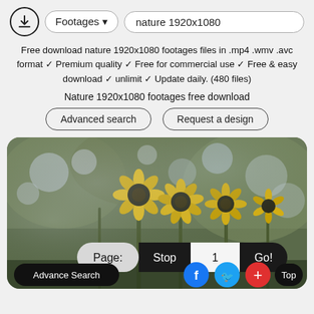[Figure (screenshot): Top navigation bar with download icon, Footages dropdown, and nature 1920x1080 search box]
Free download nature 1920x1080 footages files in .mp4 .wmv .avc format ✓ Premium quality ✓ Free for commercial use ✓ Free & easy download ✓ unlimit ✓ Update daily. (480 files)
Nature 1920x1080 footages free download
[Figure (screenshot): Advanced search and Request a design buttons]
[Figure (photo): Photo of yellow wildflowers (sunflower-like) against blurred green and bokeh background with pagination bar overlay showing Page: Stop 1 Go! and bottom bar with Advance Search, social icons (Facebook, Twitter, Plus), and Top button]